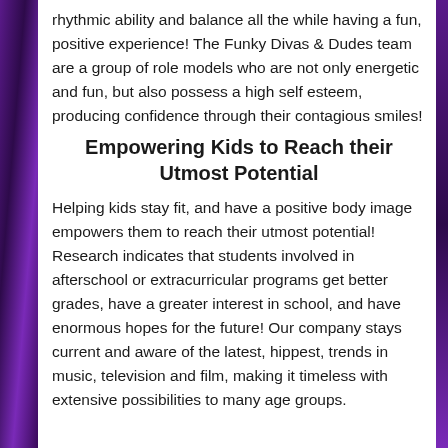rhythmic ability and balance all the while having a fun, positive experience! The Funky Divas & Dudes team are a group of role models who are not only energetic and fun, but also possess a high self esteem, producing confidence through their contagious smiles!
Empowering Kids to Reach their Utmost Potential
Helping kids stay fit, and have a positive body image empowers them to reach their utmost potential! Research indicates that students involved in afterschool or extracurricular programs get better grades, have a greater interest in school, and have enormous hopes for the future! Our company stays current and aware of the latest, hippest, trends in music, television and film, making it timeless with extensive possibilities to many age groups.